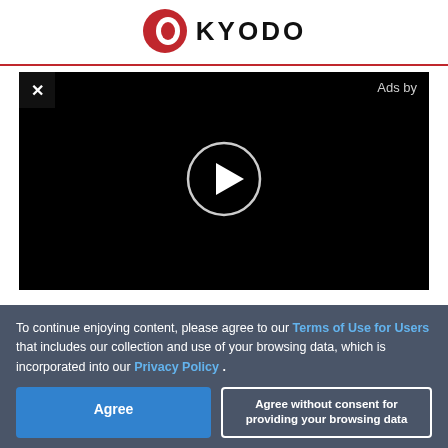KYODO
[Figure (screenshot): Video player with black background, close (X) button top-left, 'Ads by' text top-right, and a circular play button in the center]
To continue enjoying content, please agree to our Terms of Use for Users that includes our collection and use of your browsing data, which is incorporated into our Privacy Policy .
Agree
Agree without consent for providing your browsing data